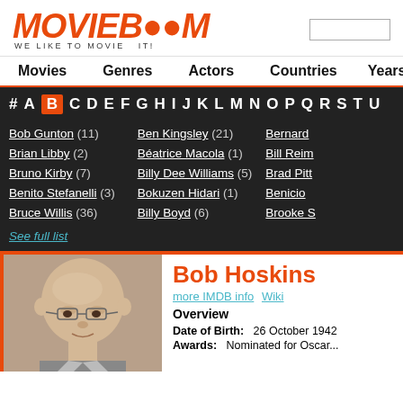[Figure (logo): MOVIEBOOM logo in orange bold italic text with camera icon and tagline WE LIKE TO MOVIE IT!]
Movies  Genres  Actors  Countries  Years
# A B C D E F G H I J K L M N O P Q R S T U (alphabet navigation bar, B highlighted)
Bob Gunton (11)
Brian Libby (2)
Bruno Kirby (7)
Benito Stefanelli (3)
Bruce Willis (36)
Ben Kingsley (21)
Béatrice Macola (1)
Billy Dee Williams (5)
Bokuzen Hidari (1)
Billy Boyd (6)
Bernard ...
Bill Reim...
Brad Pitt...
Benicio ...
Brooke S...
See full list
Bob Hoskins
more IMDB info  Wiki
Overview
Date of Birth:  26 October 1942
Awards:  Nominated for Oscar...